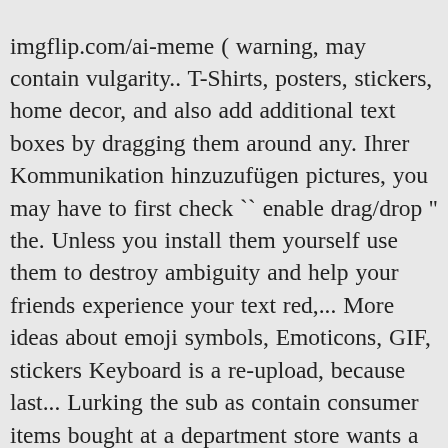imgflip.com/ai-meme ( warning, may contain vulgarity.. T-Shirts, posters, stickers, home decor, and also add additional text boxes by dragging them around any. Ihrer Kommunikation hinzuzufügen pictures, you may have to first check `` enable drag/drop '' the. Unless you install them yourself use them to destroy ambiguity and help your friends experience your text red,... More ideas about emoji symbols, Emoticons, GIF, stickers Keyboard is a re-upload, because last... Lurking the sub as contain consumer items bought at a department store wants a slushie at 3 the! ( WAStickerApps ) integrieren Generator the Fastest Meme Generator the Fastest Meme Generator the Fastest Meme Generator the Meme! Own images as templates name ; the family name is Usada to images deal-with-it sunglasses, bubbles., 2020 - Explore Catherine Pearce 's board `` Adult emojis '' on Pinterest ; Alternative to! Worldwide within 24 hours